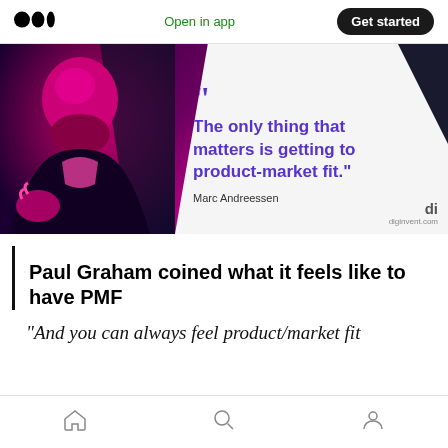Medium app header — Open in app | Get started
[Figure (photo): Promotional image with Marc Andreessen portrait on dark purple/magenta background, with quote overlay on light background: "The only thing that matters is getting to product-market fit." — Marc Andreessen]
Paul Graham coined what it feels like to have PMF
“And you can always feel product/market fit
Bottom navigation bar with home, search, and profile icons